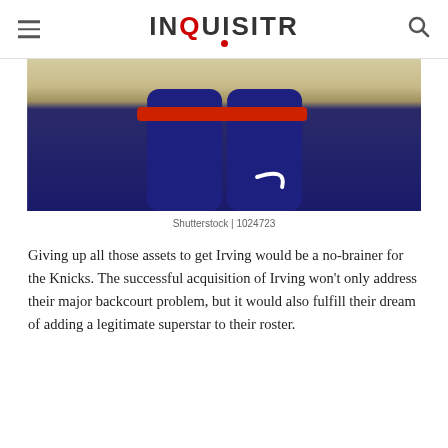INQUISITR
[Figure (photo): Close-up photo of a basketball player's lower body wearing navy blue Nike compression tights and shorts with a red stripe, on an indoor court background]
Shutterstock | 1024723
Giving up all those assets to get Irving would be a no-brainer for the Knicks. The successful acquisition of Irving won't only address their major backcourt problem, but it would also fulfill their dream of adding a legitimate superstar to their roster.